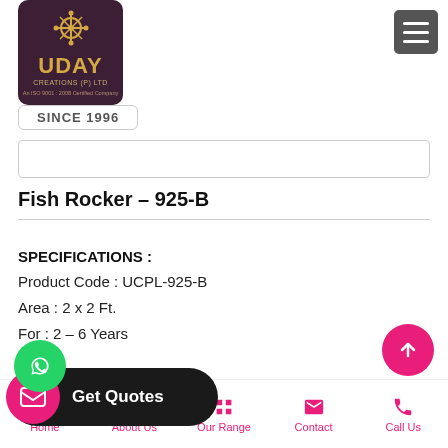[Figure (logo): Uday Creations Pvt Ltd logo - dark purple rounded square with decorative icon and gold text UDAY CREATIONS (P) LTD, ISO certified company]
SINCE 1996
Fish Rocker – 925-B
SPECIFICATIONS :
Product Code : UCPL-925-B
Area : 2 x 2 Ft.
For : 2 – 6 Years
Get Quotes
Home   About Us   Our Range   Contact   Call Us